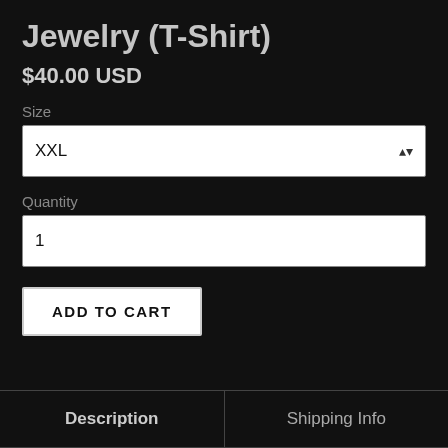Jewelry (T-Shirt)
$40.00 USD
Size
XXL
Quantity
1
ADD TO CART
Description
Shipping Info